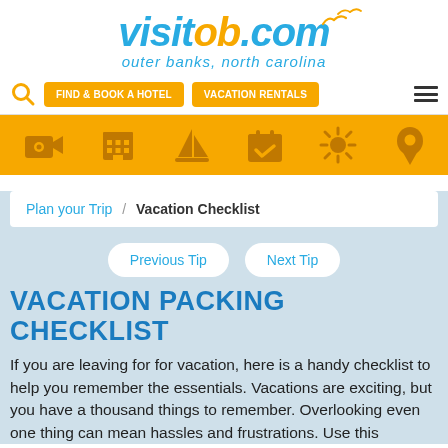[Figure (logo): visitob.com logo with seagulls, subtitle 'outer banks, north carolina']
[Figure (screenshot): Navigation bar with search icon, 'FIND & BOOK A HOTEL' and 'VACATION RENTALS' orange buttons, and hamburger menu icon]
[Figure (infographic): Orange icon bar with 6 icons: camera/video, hotel building, sailboat, calendar, sun, map pin]
Plan your Trip / Vacation Checklist
Previous Tip   Next Tip
VACATION PACKING CHECKLIST
If you are leaving for for vacation, here is a handy checklist to help you remember the essentials. Vacations are exciting, but you have a thousand things to remember. Overlooking even one thing can mean hassles and frustrations. Use this